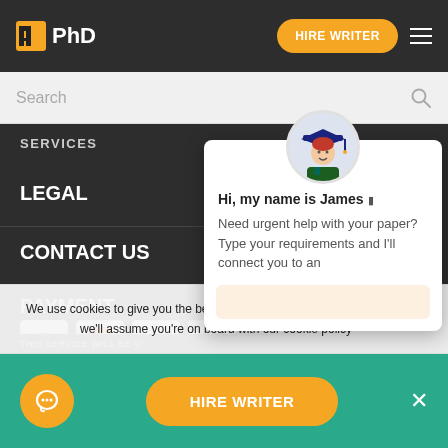[Figure (screenshot): Website navigation bar with PhD logo, HIRE WRITER button, and hamburger menu on dark background]
Search
SERVICES
LEGAL
CONTACT US
PAYMENT
[Figure (infographic): Chat popup with graduation cap avatar character named James offering writing help: Hi, my name is James. Need urgent help with your paper? Type your requirements and I'll connect you to an]
We use cookies to give you the best experience possible. By continuing we'll assume you're on board with our cookie policy
THIS SERVICE WILL BE U
HIRE WRITER